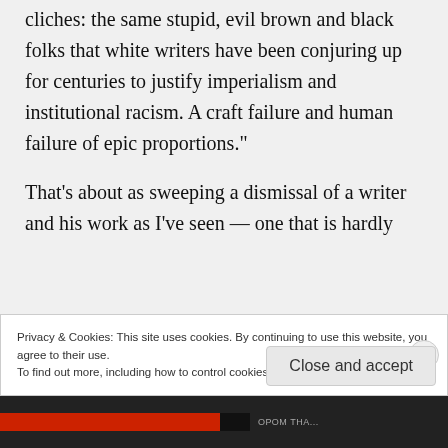cliches: the same stupid, evil brown and black folks that white writers have been conjuring up for centuries to justify imperialism and institutional racism. A craft failure and human failure of epic proportions."
That's about as sweeping a dismissal of a writer and his work as I've seen — one that is hardly
Privacy & Cookies: This site uses cookies. By continuing to use this website, you agree to their use.
To find out more, including how to control cookies, see here: Cookie Policy
Close and accept